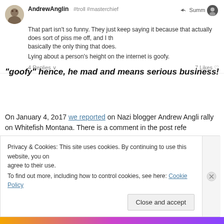AndrewAnglin #troll #masterchief
That part isn't so funny. They just keep saying it because that actually does sort of piss me off, and I th basically the only thing that does.
Lying about a person's height on the internet is goofy.
4 Replies   7 Likes
“goofy” hence, he mad and means serious business!
On January 4, 2o17 we reported on Nazi blogger Andrew Anglin rally on Whitefish Montana. There is a comment in the post refe
We stated in our article Andrew was FIVE FOOT THREE, an
Privacy & Cookies: This site uses cookies. By continuing to use this website, you agree to their use.
To find out more, including how to control cookies, see here: Cookie Policy
Close and accept